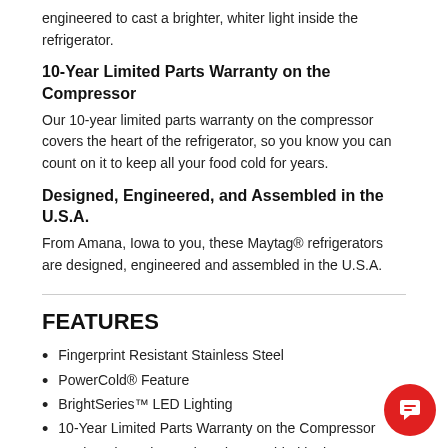engineered to cast a brighter, whiter light inside the refrigerator.
10-Year Limited Parts Warranty on the Compressor
Our 10-year limited parts warranty on the compressor covers the heart of the refrigerator, so you know you can count on it to keep all your food cold for years.
Designed, Engineered, and Assembled in the U.S.A.
From Amana, Iowa to you, these Maytag® refrigerators are designed, engineered and assembled in the U.S.A.
FEATURES
Fingerprint Resistant Stainless Steel
PowerCold® Feature
BrightSeries™ LED Lighting
10-Year Limited Parts Warranty on the Compressor
Designed, Engineered, and Assembled in the...